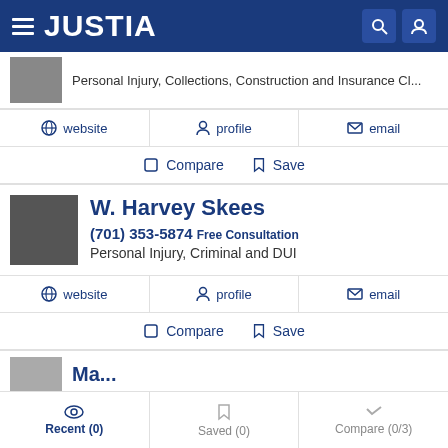JUSTIA
Personal Injury, Collections, Construction and Insurance Cl...
website  profile  email
Compare  Save
W. Harvey Skees
(701) 353-5874 Free Consultation
Personal Injury, Criminal and DUI
website  profile  email
Compare  Save
Recent (0)  Saved (0)  Compare (0/3)